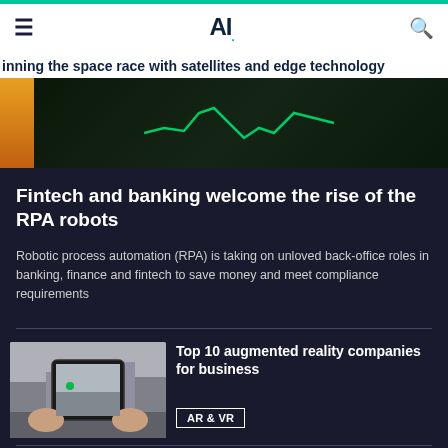AI. [logo] — hamburger menu and search icon
Winning the space race with satellites and edge technology
[Figure (photo): Dark background with green stock market chart line, orange strip on left side]
Fintech and banking welcome the rise of the RPA robots
Robotic process automation (RPA) is taking on unloved back-office roles in banking, finance and fintech to save money and meet compliance requirements
[Figure (photo): Hands holding a smartphone photographing a city street scene]
Top 10 augmented reality companies for business
AR & VR